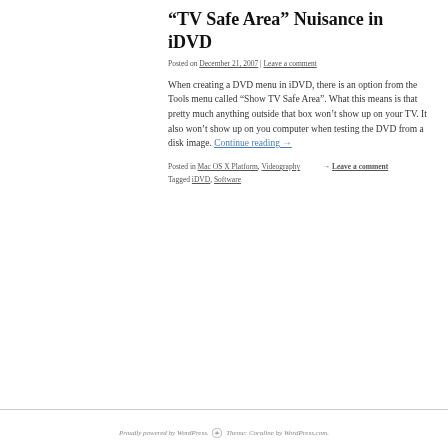“TV Safe Area” Nuisance in iDVD
Posted on December 21, 2007 | Leave a comment
When creating a DVD menu in iDVD, there is an option from the Tools menu called “Show TV Safe Area”. What this means is that pretty much anything outside that box won’t show up on your TV. It also won’t show up on you computer when testing the DVD from a disk image. Continue reading →
Posted in Mac OS X Platform, Videography → Leave a comment
Tagged iDVD, Software
Proudly powered by WordPress. Theme: Coraline by WordPress.com.